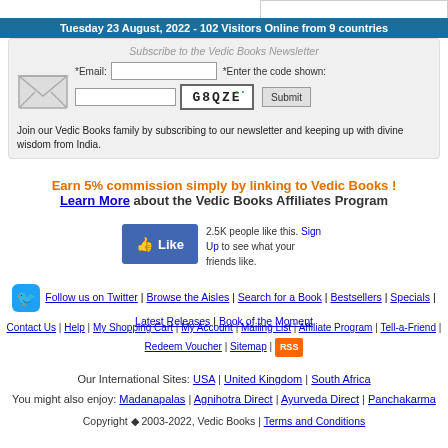Tuesday 23 August, 2022  - 102 Visitors Online  from 9 countries
Subscribe to the Vedic Books Newsletter
Join our Vedic Books family by subscribing to our newsletter and keeping up with divine wisdom from India.
Earn 5% commission simply by linking to Vedic Books ! Learn More about the Vedic Books Affiliates Program
2.5K people like this. Sign Up to see what your friends like.
Follow us on Twitter | Browse the Aisles | Search for a Book | Bestsellers | Specials | Latest Releases | Book of the Moment
Contact Us | Help | My Shopping Cart | My Account | Mailing List | Affiliate Program | Tell-a-Friend | Redeem Voucher | Sitemap | RSS
Our International Sites: USA | United Kingdom | South Africa
You might also enjoy: Madanapalas | Agnihotra Direct | Ayurveda Direct | Panchakarma
Copyright 2003-2022, Vedic Books | Terms and Conditions